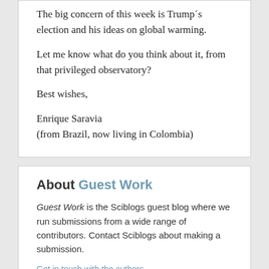The big concern of this week is Trump´s election and his ideas on global warming.
Let me know what do you think about it, from that privileged observatory?
Best wishes,
Enrique Saravia
(from Brazil, now living in Colombia)
About Guest Work
Guest Work is the Sciblogs guest blog where we run submissions from a wide range of contributors. Contact Sciblogs about making a submission.
Get in touch with the authors
r blogs